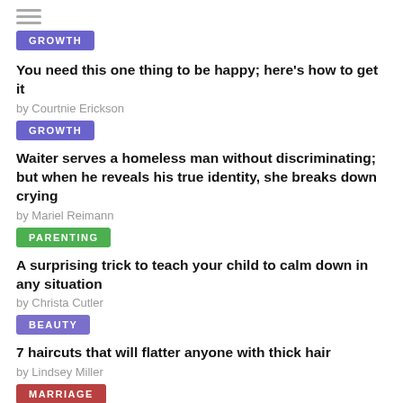[Figure (other): Hamburger menu icon (three horizontal lines)]
[Figure (other): GROWTH category badge (purple)]
You need this one thing to be happy; here’s how to get it
by Courtnie Erickson
[Figure (other): GROWTH category badge (purple)]
Waiter serves a homeless man without discriminating; but when he reveals his true identity, she breaks down crying
by Mariel Reimann
[Figure (other): PARENTING category badge (green)]
A surprising trick to teach your child to calm down in any situation
by Christa Cutler
[Figure (other): BEAUTY category badge (purple)]
7 haircuts that will flatter anyone with thick hair
by Lindsey Miller
[Figure (other): MARRIAGE category badge (red)]